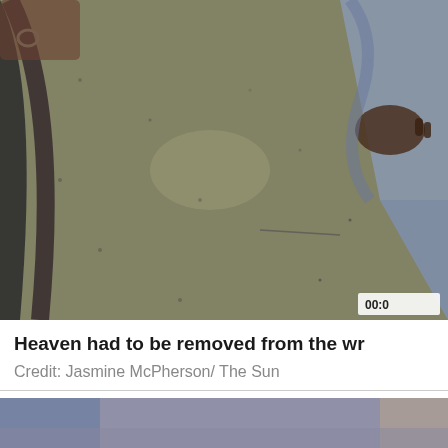[Figure (photo): Close-up photo of a person on the ground, showing clothing in blue/grey and a hand on a concrete or gravel surface, with a dark strap visible. Timestamp '00:0' visible in bottom right corner.]
Heaven had to be removed from the wr
Credit: Jasmine McPherson/ The Sun
[Figure (photo): Partial photo with blurred/close-up imagery showing blue and grey-purple tones.]